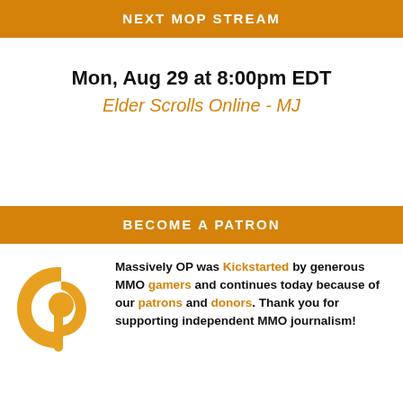NEXT MOP STREAM
Mon, Aug 29 at 8:00pm EDT
Elder Scrolls Online - MJ
BECOME A PATRON
[Figure (logo): Patreon logo in orange]
Massively OP was Kickstarted by generous MMO gamers and continues today because of our patrons and donors. Thank you for supporting independent MMO journalism!